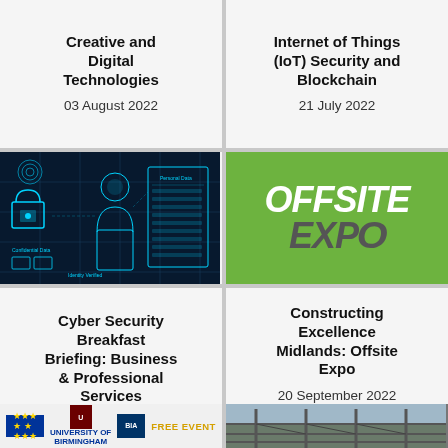Creative and Digital Technologies
03 August 2022
Internet of Things (IoT) Security and Blockchain
21 July 2022
[Figure (photo): Cyber security themed image showing a digital silhouette, padlock, and personal data panels on a dark blue background]
[Figure (logo): Offsite Expo logo — white OFFSITE text on green background, grey EXPO text below]
Cyber Security Breakfast Briefing: Business & Professional Services
14 July 2022
Constructing Excellence Midlands: Offsite Expo
20 September 2022 – 21 September 2022
[Figure (photo): Partial image showing EU logos, University of Birmingham logo, and FREE EVENT text]
[Figure (photo): Partial image of a construction or industrial structure]